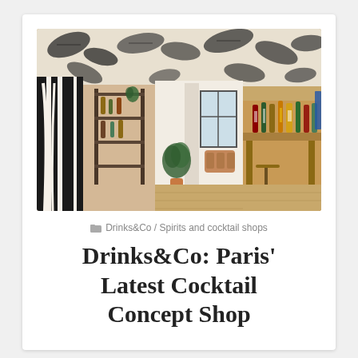[Figure (photo): Interior of Drinks&Co concept shop in Paris showing a stylish open space with black and white botanical ceiling murals, bold black stripe wall art, wooden floors, shelving with bottles, potted plants, wooden bar counter on the right lined with spirit bottles, and seating area visible in the background near large windows.]
Drinks&Co / Spirits and cocktail shops
Drinks&Co: Paris' Latest Cocktail Concept Shop